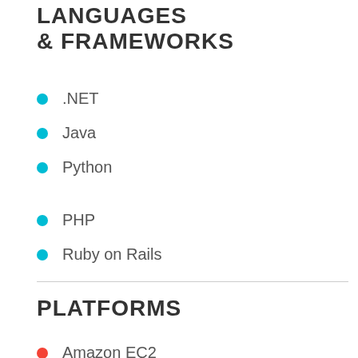LANGUAGES & FRAMEWORKS
.NET
Java
Python
PHP
Ruby on Rails
PLATFORMS
Amazon EC2